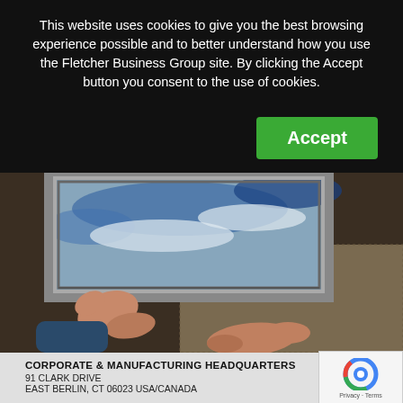This website uses cookies to give you the best browsing experience possible and to better understand how you use the Fletcher Business Group site. By clicking the Accept button you consent to the use of cookies.
[Figure (screenshot): Accept button - green rectangular button with white bold text reading 'Accept']
[Figure (photo): Hands holding a framed painting with blue and white brushstrokes on canvas, resting on burlap]
CORPORATE & MANUFACTURING HEADQUARTERS
91 CLARK DRIVE
EAST BERLIN, CT 06023 USA/CANADA